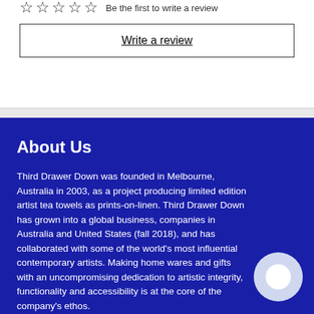Be the first to write a review
Write a review
About Us
Third Drawer Down was founded in Melbourne, Australia in 2003, as a project producing limited edition artist tea towels as prints-on-linen. Third Drawer Down has grown into a global business, companies in Australia and United States (fall 2018), and has collaborated with some of the world's most influential contemporary artists. Making home wares and gifts with an uncompromising dedication to artistic integrity, functionality and accessibility is at the core of the company's ethos.